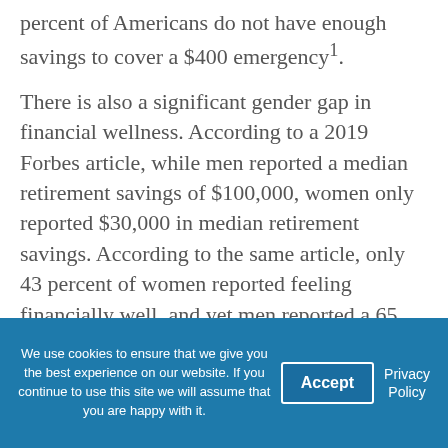percent of Americans do not have enough savings to cover a $400 emergency¹.
There is also a significant gender gap in financial wellness. According to a 2019 Forbes article, while men reported a median retirement savings of $100,000, women only reported $30,000 in median retirement savings. According to the same article, only 43 percent of women reported feeling financially well, and yet men reported a 65 percent satisfaction rate with their own financial wellness
We use cookies to ensure that we give you the best experience on our website. If you continue to use this site we will assume that you are happy with it. [Accept] [Privacy Policy]